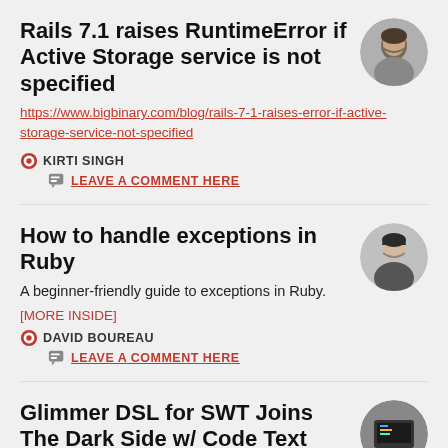Rails 7.1 raises RuntimeError if Active Storage service is not specified
https://www.bigbinary.com/blog/rails-7-1-raises-error-if-active-storage-service-not-specified
KIRTI SINGH
LEAVE A COMMENT HERE
How to handle exceptions in Ruby
A beginner-friendly guide to exceptions in Ruby.
[MORE INSIDE]
DAVID BOUREAU
LEAVE A COMMENT HERE
Glimmer DSL for SWT Joins The Dark Side w/ Code Text
In Glimmer DSL for SWT v4.24.2.2, the code_text custom widget, which supports syntax highlighting for 204